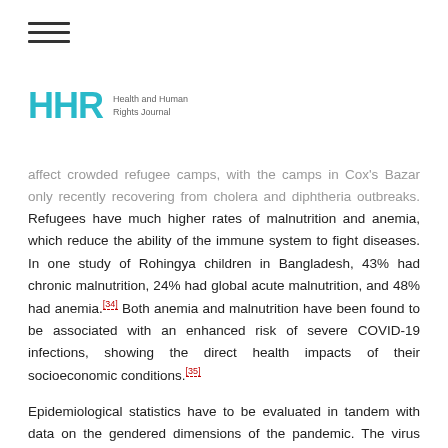≡
[Figure (logo): HHR Health and Human Rights Journal logo with teal letters HHR and gray subtitle text]
affect crowded refugee camps, with the camps in Cox's Bazar only recently recovering from cholera and diphtheria outbreaks. Refugees have much higher rates of malnutrition and anemia, which reduce the ability of the immune system to fight diseases. In one study of Rohingya children in Bangladesh, 43% had chronic malnutrition, 24% had global acute malnutrition, and 48% had anemia.[34] Both anemia and malnutrition have been found to be associated with an enhanced risk of severe COVID-19 infections, showing the direct health impacts of their socioeconomic conditions.[35]
Epidemiological statistics have to be evaluated in tandem with data on the gendered dimensions of the pandemic. The virus may not actively target women, but its impacts magnify